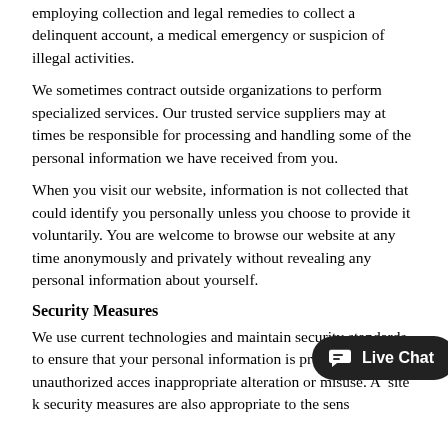employing collection and legal remedies to collect a delinquent account, a medical emergency or suspicion of illegal activities.
We sometimes contract outside organizations to perform specialized services. Our trusted service suppliers may at times be responsible for processing and handling some of the personal information we have received from you.
When you visit our website, information is not collected that could identify you personally unless you choose to provide it voluntarily. You are welcome to browse our website at any time anonymously and privately without revealing any personal information about yourself.
Security Measures
We use current technologies and maintain security standards to ensure that your personal information is protected against unauthorized access, inappropriate alteration or misuse. A... site k... security measures are also appropriate to the sens... level of pers... information. They maintain...